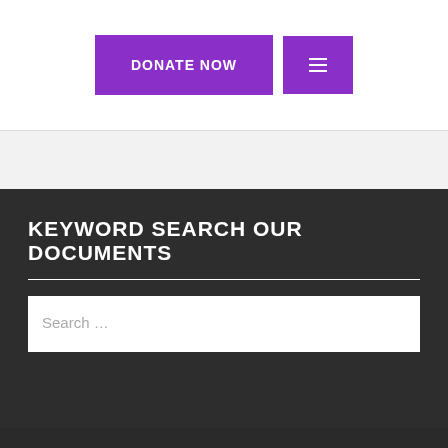[Figure (screenshot): Purple DONATE NOW button and purple hamburger menu button in website navigation header]
KEYWORD SEARCH OUR DOCUMENTS
[Figure (screenshot): Search input field with placeholder text 'Search ...' and a white search button]
Copyright © Coalition to Protect America's National P... All rights reserved.